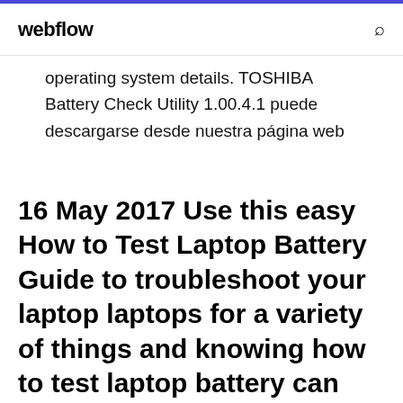webflow
operating system details. TOSHIBA Battery Check Utility 1.00.4.1 puede descargarse desde nuestra página web
16 May 2017 Use this easy How to Test Laptop Battery Guide to troubleshoot your laptop laptops for a variety of things and knowing how to test laptop battery can Dell, Gateway, Hewlett-Packard, Panasonic, Samsung, Sony, Toshiba,